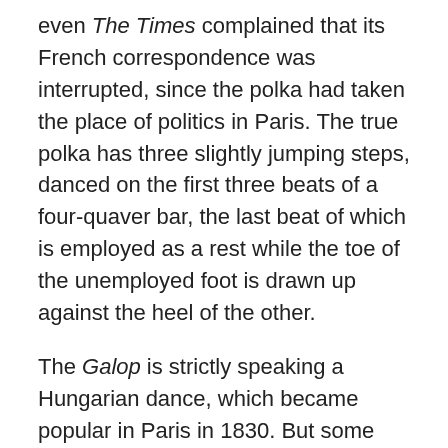even The Times complained that its French correspondence was interrupted, since the polka had taken the place of politics in Paris. The true polka has three slightly jumping steps, danced on the first three beats of a four-quaver bar, the last beat of which is employed as a rest while the toe of the unemployed foot is drawn up against the heel of the other.
The Galop is strictly speaking a Hungarian dance, which became popular in Paris in 1830. But some kind of a dance corresponding to the galop was always indulged in after Voltes and Contre-danses, as a relief from their grave and constrained measures.
The Washington Post and several varieties of Barn-dance are of American origin, and became fashionable towards the end of the 19th century.
The Polka Mazurka is extremely popular in Vienna and